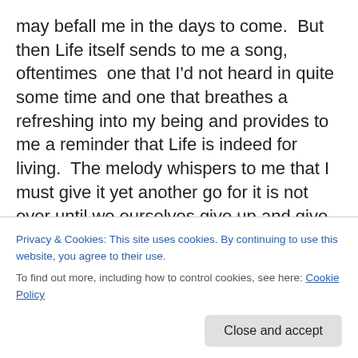may befall me in the days to come.  But then Life itself sends to me a song, oftentimes  one that I'd not heard in quite some time and one that breathes a refreshing into my being and provides to me a reminder that Life is indeed for living.  The melody whispers to me that I must give it yet another go for it is not over until we ourselves give up and give in.  Friends, I say to you today that this is the truth of it.  If music and melody were to be taken from this world, its soul would wither and whatever goodness we have as individuals and as a people would die.  I
Privacy & Cookies: This site uses cookies. By continuing to use this website, you agree to their use.
To find out more, including how to control cookies, see here: Cookie Policy
Close and accept